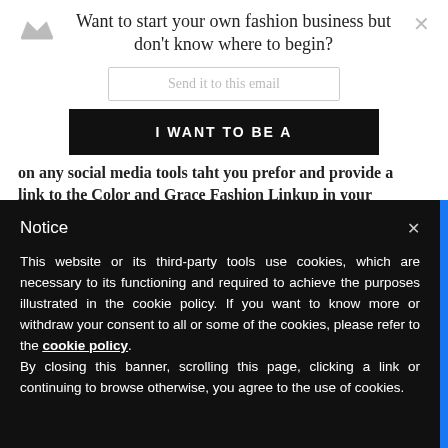Want to start your own fashion business but don't know where to begin?
Send it to this email
I WANT TO BE A FASHIONPREUNEUR
on any social media tools taht you prefor and provide a link to the Color and Grace Fashion Linkup in your
Notice
This website or its third-party tools use cookies, which are necessary to its functioning and required to achieve the purposes illustrated in the cookie policy. If you want to know more or withdraw your consent to all or some of the cookies, please refer to the cookie policy.
By closing this banner, scrolling this page, clicking a link or continuing to browse otherwise, you agree to the use of cookies.